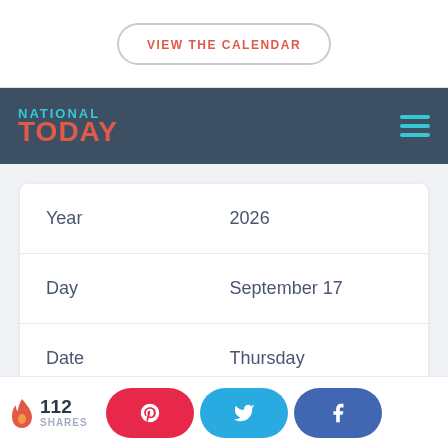VIEW THE CALENDAR
NATIONAL TODAY
|  |  |
| --- | --- |
| Year | 2026 |
| Day | September 17 |
| Date | Thursday |
112 SHARES